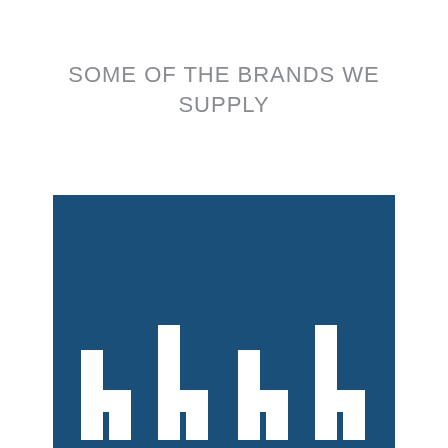SOME OF THE BRANDS WE SUPPLY
[Figure (logo): A brand logo on a dark blue square background with white stylized letterforms visible at the bottom, resembling the letters of a company name (halb or similar).]